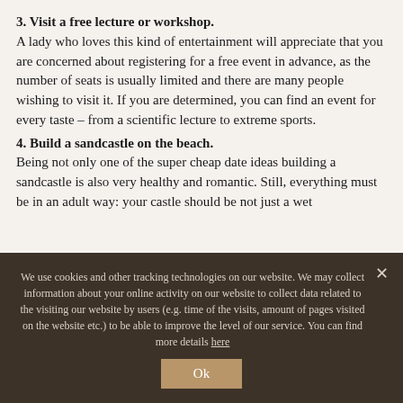3. Visit a free lecture or workshop. A lady who loves this kind of entertainment will appreciate that you are concerned about registering for a free event in advance, as the number of seats is usually limited and there are many people wishing to visit it. If you are determined, you can find an event for every taste – from a scientific lecture to extreme sports.
4. Build a sandcastle on the beach. Being not only one of the super cheap date ideas building a sandcastle is also very healthy and romantic. Still, everything must be in an adult way: your castle should be not just a wet
We use cookies and other tracking technologies on our website. We may collect information about your online activity on our website to collect data related to the visiting our website by users (e.g. time of the visits, amount of pages visited on the website etc.) to be able to improve the level of our service. You can find more details here